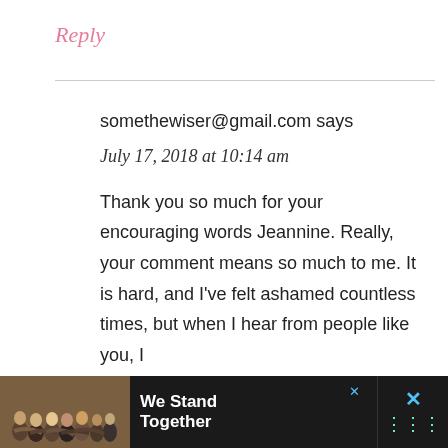Reply
somethewiser@gmail.com says
July 17, 2018 at 10:14 am
Thank you so much for your encouraging words Jeannine. Really, your comment means so much to me. It is hard, and I've felt ashamed countless times, but when I hear from people like you, I
[Figure (photo): Advertisement banner at the bottom: group of people with arms around each other, text 'We Stand Together', dark background with close button and X icon]